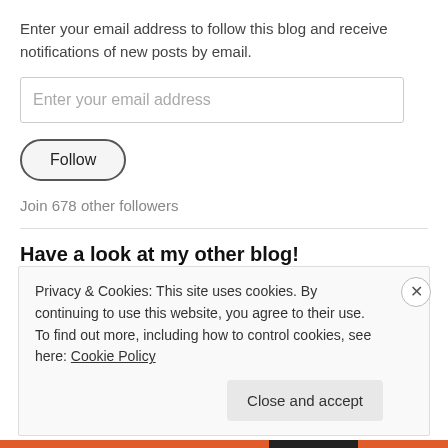Enter your email address to follow this blog and receive notifications of new posts by email.
[Figure (other): Email address input field with placeholder text 'Enter your email address']
[Figure (other): Follow button with rounded pill shape border]
Join 678 other followers
Have a look at my other blog!
https://carolkeiter.wordpress.com
Privacy & Cookies: This site uses cookies. By continuing to use this website, you agree to their use. To find out more, including how to control cookies, see here: Cookie Policy
Close and accept